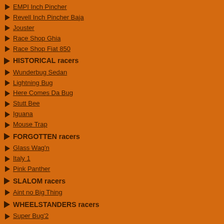EMPI Inch Pincher
Revell Inch Pincher Baja
Jouster
Race Shop Ghia
Race Shop Fiat 850
HISTORICAL racers
Wunderbug Sedan
Lightning Bug
Here Comes Da Bug
Stutt Bee
Iguana
Mouse Trap
FORGOTTEN racers
Glass Wag'n
Italy 1
Pink Panther
SLALOM racers
Aint no Big Thing
WHEELSTANDERS racers
Super Bug'2
knuckes. The car was already Stuttgart and Germa… Judging from the emboss, it looks like an ugly fiberg… is not easy but I guess it's back from 1968 or early 19…